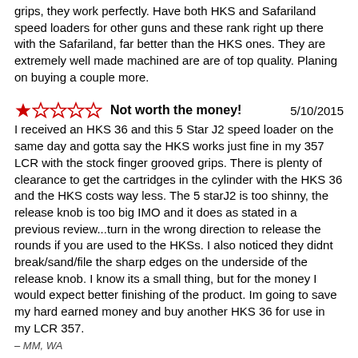grips, they work perfectly. Have both HKS and Safariland speed loaders for other guns and these rank right up there with the Safariland, far better than the HKS ones. They are extremely well made machined are are of top quality. Planing on buying a couple more.
Not worth the money! 5/10/2015
I received an HKS 36 and this 5 Star J2 speed loader on the same day and gotta say the HKS works just fine in my 357 LCR with the stock finger grooved grips. There is plenty of clearance to get the cartridges in the cylinder with the HKS 36 and the HKS costs way less. The 5 starJ2 is too shinny, the release knob is too big IMO and it does as stated in a previous review...turn in the wrong direction to release the rounds if you are used to the HKSs. I also noticed they didnt break/sand/file the sharp edges on the underside of the release knob. I know its a small thing, but for the money I would expect better finishing of the product. Im going to save my hard earned money and buy another HKS 36 for use in my LCR 357.
– MM, WA
Best speedloaders 2/7/2015
Five star speed loaders are the best made speed loaders for not only the LCR but for any revolver. One reviewer states they work in the wrong direction – I beg to differ. Everything else mechanically